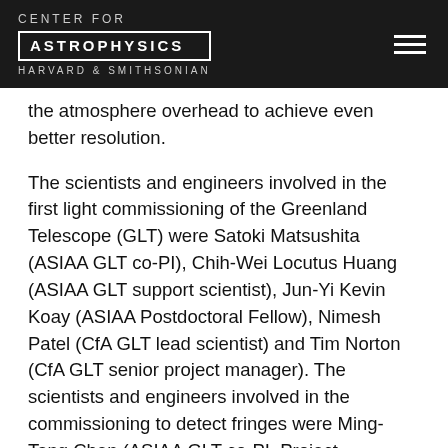CENTER FOR ASTROPHYSICS HARVARD & SMITHSONIAN
the atmosphere overhead to achieve even better resolution.
The scientists and engineers involved in the first light commissioning of the Greenland Telescope (GLT) were Satoki Matsushita (ASIAA GLT co-PI), Chih-Wei Locutus Huang (ASIAA GLT support scientist), Jun-Yi Kevin Koay (ASIAA Postdoctoral Fellow), Nimesh Patel (CfA GLT lead scientist) and Tim Norton (CfA GLT senior project manager). The scientists and engineers involved in the commissioning to detect fringes were Ming-Tang Chen (ASIAA GLT co-PI, Project Manager), Keiichi Asada (ASIAA GLT Project Scientist), Hiroaki Nishioka (ASIAA GLT Support Scientist), Kuan-Yu Liu (FAO, JCMT Technician), Chen-Yu Yu (ASIAA GLT